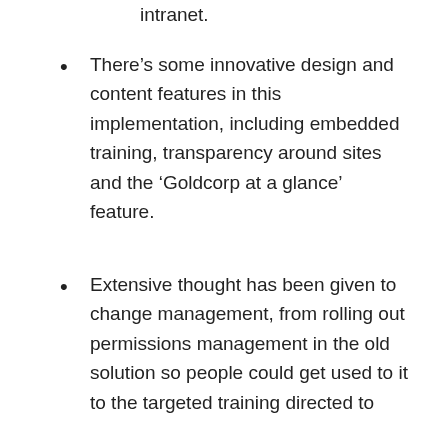intranet.
There’s some innovative design and content features in this implementation, including embedded training, transparency around sites and the ‘Goldcorp at a glance’ feature.
Extensive thought has been given to change management, from rolling out permissions management in the old solution so people could get used to it to the targeted training directed to